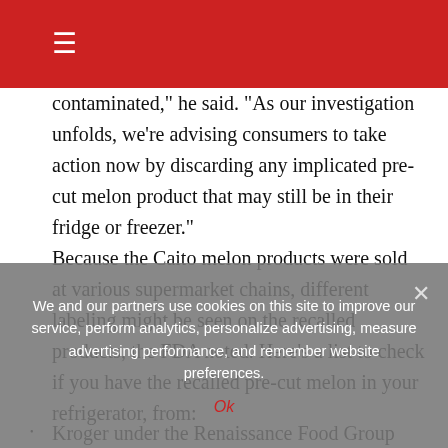☰
contaminated," he said. "As our investigation unfolds, we're advising consumers to take action now by discarding any implicated pre-cut melon product that may still be in their fridge or freezer."
Because the Caito melon products were sold at various supermarket chains, different labeling might be seen on the recalled products, the FDA noted. Here's a list to check if you have the recalled pre-cut melon in your refrigerator, from:
Kroger under the Renaissance Food Group label, and under
We and our partners use cookies on this site to improve our service, perform analytics, personalize advertising, measure advertising performance, and remember website preferences.
Ok